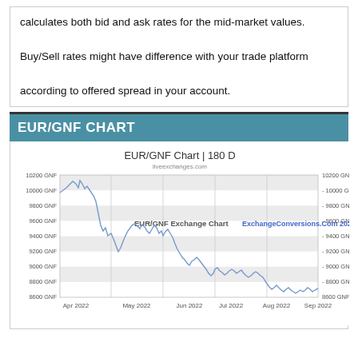calculates both bid and ask rates for the mid-market values.
Buy/Sell rates might have difference with your trade platform according to offered spread in your account.
EUR/GNF CHART
[Figure (continuous-plot): Line chart showing EUR/GNF exchange rate over 180 days from Apr 2022 to Sep 2022. Y-axis ranges from 8600 GNF to 10200 GNF. The rate starts around 10000 GNF in Apr 2022, drops sharply through May 2022, partially recovers to around 9600-9700 GNF in Jun 2022, then trends down to around 8600-8800 GNF by Sep 2022.]